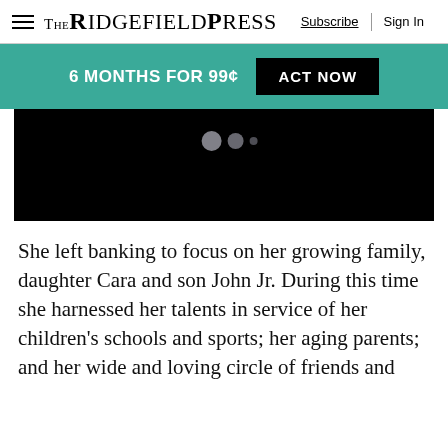The Ridgefield Press — Subscribe | Sign In
6 MONTHS FOR 99¢  ACT NOW
[Figure (screenshot): Black video/media player area with three dots (carousel indicators) at the top center]
She left banking to focus on her growing family, daughter Cara and son John Jr. During this time she harnessed her talents in service of her children's schools and sports; her aging parents; and her wide and loving circle of friends and